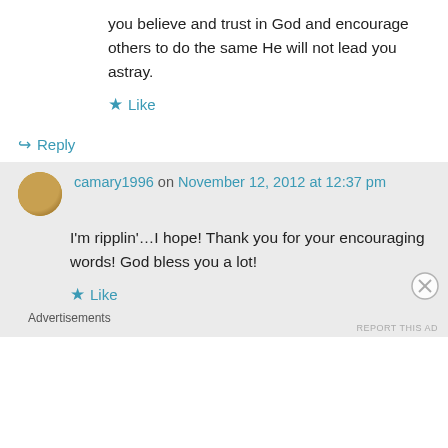you believe and trust in God and encourage others to do the same He will not lead you astray.
★ Like
↪ Reply
camary1996 on November 12, 2012 at 12:37 pm
I'm ripplin'…I hope! Thank you for your encouraging words! God bless you a lot!
★ Like
Advertisements